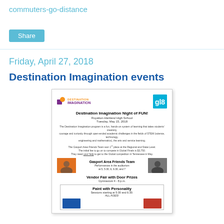commuters-go-distance
Share
Friday, April 27, 2018
Destination Imagination events
[Figure (illustration): Flyer for Destination Imagination Night of FUN at Royalton-Hartland High School, Tuesday May 15, 2018. Shows DI logo, Gasport Area Friends Team, Vendor Fair with Door Prizes, and Paint with Personality sessions.]